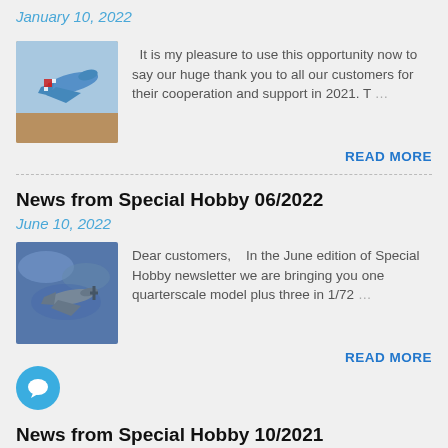January 10, 2022
[Figure (illustration): Illustration of a blue military jet aircraft with red and white checkered markings on a sandy background]
It is my pleasure to use this opportunity now to say our huge thank you to all our customers for their cooperation and support in 2021. T…
READ MORE
News from Special Hobby 06/2022
June 10, 2022
[Figure (illustration): Illustration of a propeller aircraft flying in cloudy/stormy blue-grey sky]
Dear customers,   In the June edition of Special Hobby newsletter we are bringing you one quarterscale model plus three in 1/72…
READ MORE
[Figure (illustration): Blue circular chat/comment button icon]
News from Special Hobby 10/2021